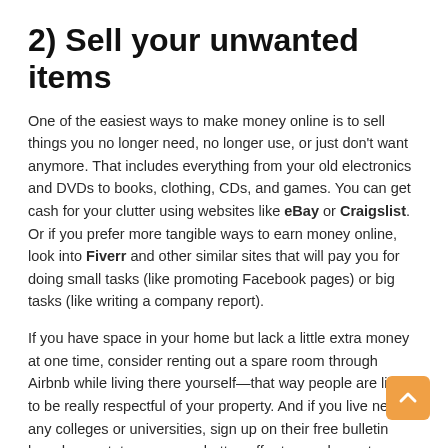2) Sell your unwanted items
One of the easiest ways to make money online is to sell things you no longer need, no longer use, or just don't want anymore. That includes everything from your old electronics and DVDs to books, clothing, CDs, and games. You can get cash for your clutter using websites like eBay or Craigslist. Or if you prefer more tangible ways to earn money online, look into Fiverr and other similar sites that will pay you for doing small tasks (like promoting Facebook pages) or big tasks (like writing a company report).
If you have space in your home but lack a little extra money at one time, consider renting out a spare room through Airbnb while living there yourself—that way people are likely to be really respectful of your property. And if you live near any colleges or universities, sign up on their free bulletin boards as a tutor—or even better, offer to coach sports teams after school.
These types of side gigs not only bring in some extra income, but they also give you experience dealing with different kinds of people and that will come in handy when you are first starting off selling...